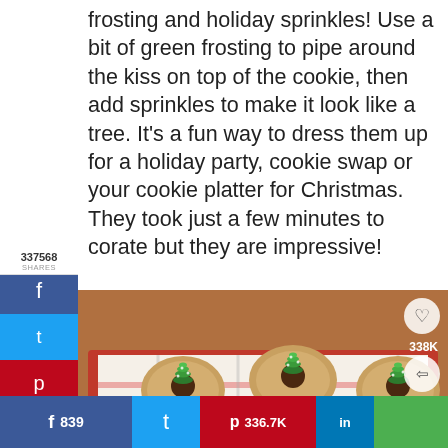frosting and holiday sprinkles!  Use a bit of green frosting to pipe around the kiss on top of the cookie, then add sprinkles to make it look like a tree. It's a fun way to dress them up for a holiday party, cookie swap or your cookie platter for Christmas. They took just a few minutes to corate but they are impressive!
337568
SHARES
[Figure (photo): Christmas peanut butter blossom cookies decorated with green frosting piped to look like Christmas trees, topped with sprinkles, arranged on a red tray with a plaid cloth]
338K
WHAT'S NEXT → The Great Food Blogger Coo...
f  839
336.7K
in